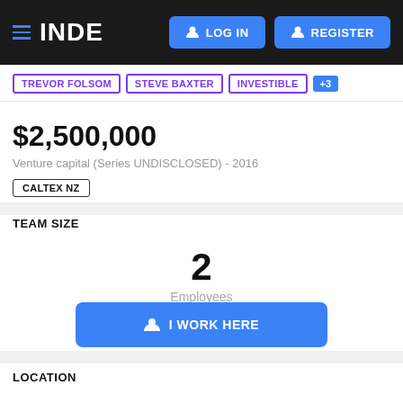INDE | LOG IN | REGISTER
TREVOR FOLSOM | STEVE BAXTER | INVESTIBLE | +3
$2,500,000
Venture capital (Series UNDISCLOSED) - 2016
CALTEX NZ
TEAM SIZE
2 Employees
I WORK HERE
LOCATION